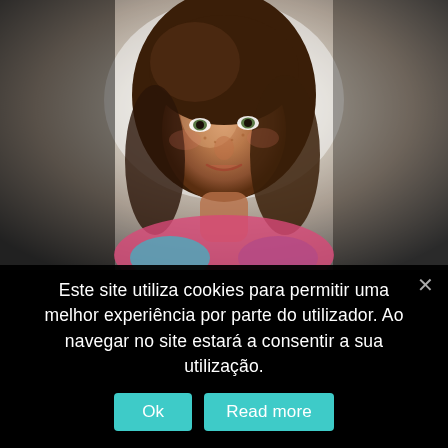[Figure (photo): Portrait photo of a woman with auburn curly hair, smiling slightly, bright backlit background suggesting outdoors near water. She is wearing a colorful top.]
Este site utiliza cookies para permitir uma melhor experiência por parte do utilizador. Ao navegar no site estará a consentir a sua utilização.